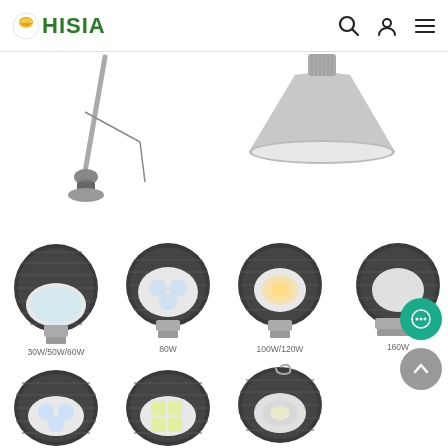HISIA — navigation header with logo, search, account, and menu icons
[Figure (photo): Hero product images: left side shows a pole-mounted LED lamp with wire; right side shows a large industrial LED high-bay lamp with aluminum reflector shade]
[Figure (photo): Grid of LED retrofit bulb products, row 1: 30W/50W/60W, 80W, 100W/120W, 160W (partially visible). Row 2: three more LED bulb variants without labels visible.]